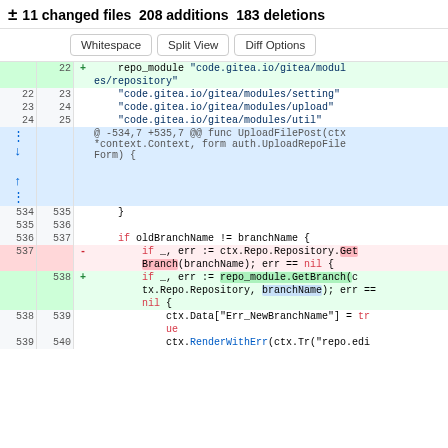± 11 changed files 208 additions 183 deletions
Whitespace | Split View | Diff Options
[Figure (screenshot): Git diff view showing code changes in a repository file, with added and removed lines highlighted in green and red, line numbers on left, and diff expansion controls.]